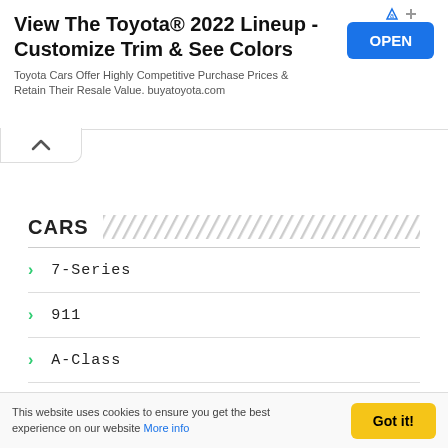[Figure (screenshot): Toyota advertisement banner with title 'View The Toyota® 2022 Lineup - Customize Trim & See Colors', subtitle text, and blue OPEN button]
7-Series
911
A-Class
A5
A8
This website uses cookies to ensure you get the best experience on our website More info